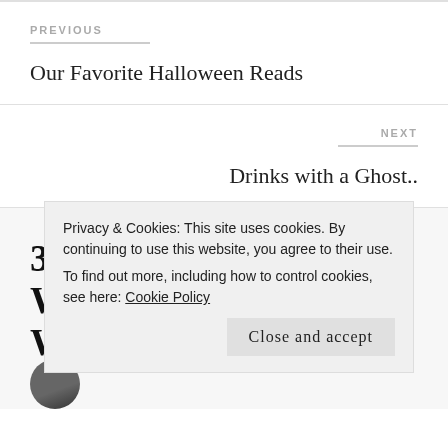PREVIOUS
Our Favorite Halloween Reads
NEXT
Drinks with a Ghost..
3 thoughts on “A Wonderful Weekend”
Privacy & Cookies: This site uses cookies. By continuing to use this website, you agree to their use.
To find out more, including how to control cookies, see here: Cookie Policy
Close and accept